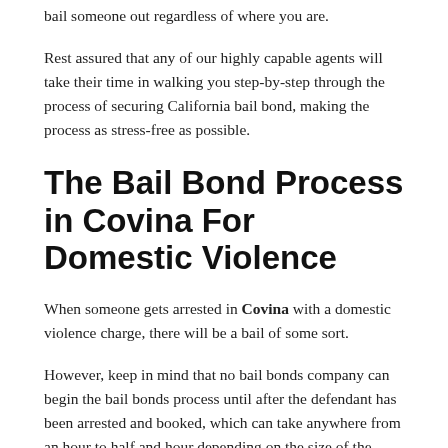bail someone out regardless of where you are.
Rest assured that any of our highly capable agents will take their time in walking you step-by-step through the process of securing California bail bond, making the process as stress-free as possible.
The Bail Bond Process in Covina For Domestic Violence
When someone gets arrested in Covina with a domestic violence charge, there will be a bail of some sort.
However, keep in mind that no bail bonds company can begin the bail bonds process until after the defendant has been arrested and booked, which can take anywhere from an hour to half and hour depending on the size of the jail...